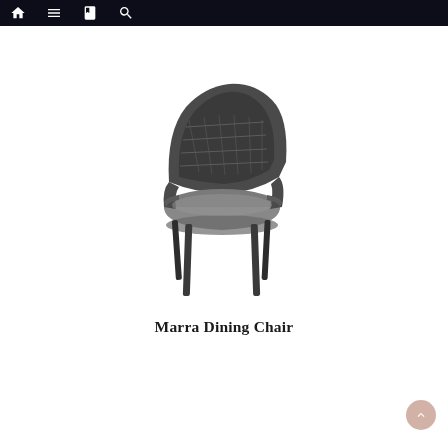Navigation bar with home, menu, book, and search icons
[Figure (photo): A Marra Dining Chair with dark gray woven rope back, upholstered gray seat cushion, and slim dark metal legs, shown at a slight angle.]
Marra Dining Chair